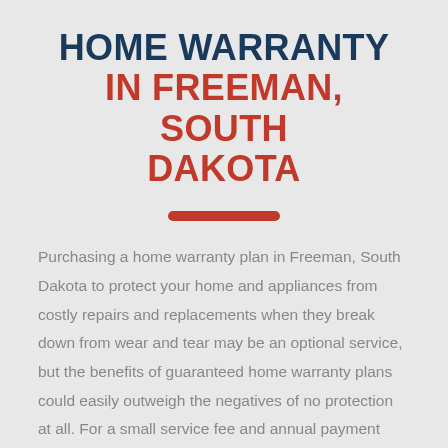HOME WARRANTY IN FREEMAN, SOUTH DAKOTA
Purchasing a home warranty plan in Freeman, South Dakota to protect your home and appliances from costly repairs and replacements when they break down from wear and tear may be an optional service, but the benefits of guaranteed home warranty plans could easily outweigh the negatives of no protection at all. For a small service fee and annual payment...